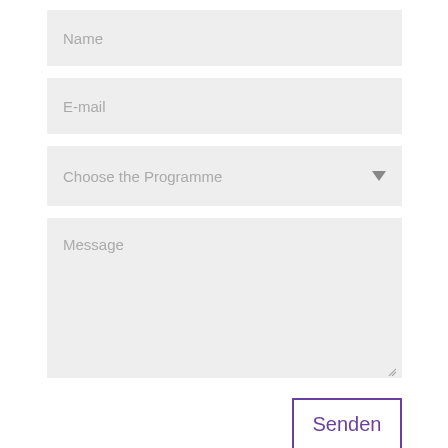[Figure (screenshot): A web contact form with four input fields: Name (text input), E-mail (text input), Choose the Programme (dropdown select), Message (textarea), and a Senden (Send) button with purple border.]